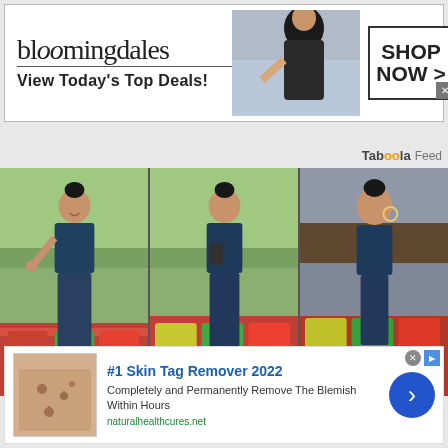[Figure (screenshot): Bloomingdale's advertisement banner: logo text 'bloomingdales', tagline 'View Today's Top Deals!', model image, and 'SHOP NOW >' button]
[Figure (screenshot): Taboola Feed label in top right]
[Figure (photo): Three side-by-side photos of a woman wearing a floral halter bikini top and matching skirt, posing outdoors with colorful cushioned seating visible in background]
[Figure (screenshot): Advertisement: '#1 Skin Tag Remover 2022' with image of skin tags, description 'Completely and Permanently Remove The Blemish Within Hours', URL naturalhealthcures.net, and blue arrow button]